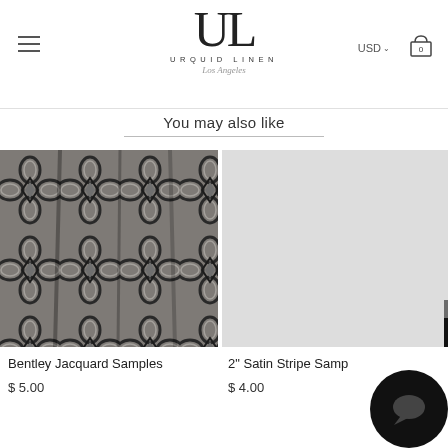[Figure (logo): Urquid Linen Los Angeles logo with large UL letters and brand name]
You may also like
[Figure (photo): Bentley Jacquard fabric sample with ornate geometric black and silver pattern]
Bentley Jacquard Samples
$ 5.00
[Figure (photo): 2 inch Satin Stripe fabric sample with black and white vertical stripes]
2" Satin Stripe Samples
$ 4.00